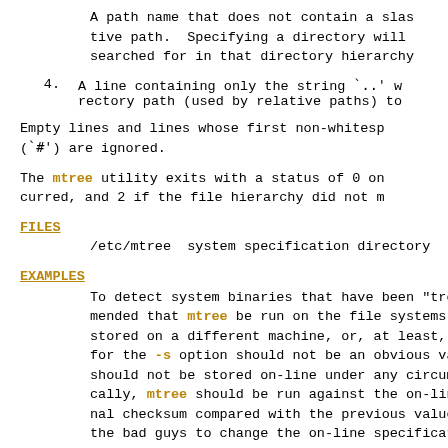A path name that does not contain a slash is a relative path.  Specifying a directory will cause files to be searched for in that directory hierarchy.
4.   A line containing only the string `..' will move the current directory path (used by relative paths) to the parent directory.
Empty lines and lines whose first non-whitespace character is a hash (`#') are ignored.
The mtree utility exits with a status of 0 on success, 1 if any error occurred, and 2 if the file hierarchy did not match the specification.
FILES
/etc/mtree  system specification directory
EXAMPLES
To detect system binaries that have been "trojaned", it is recommended that mtree be run on the file systems, and a copy stored on a different machine, or, at least, in encrypted form. The seed for the -s option should not be an obvious value and the final sum should not be stored on-line under any circumstances. Periodically, mtree should be run against the on-line specification and the final checksum compared with the previous value. If the on-line data allows the bad guys to change the on-line specification as well as the modified binaries, it shouldn't be possible for them to reproduce the same final checksum value.  If the final checksum differs, it tells that the modification occurred.